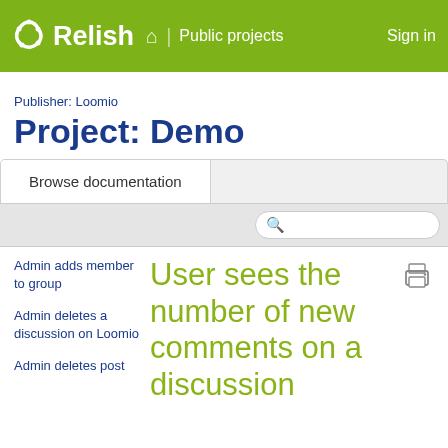Relish | Public projects | Sign in
Publisher: Loomio
Project: Demo
Browse documentation
Admin adds member to group
Admin deletes a discussion on Loomio
Admin deletes post
User sees the number of new comments on a discussion